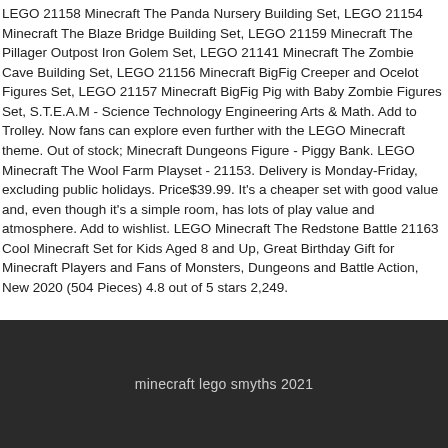LEGO 21158 Minecraft The Panda Nursery Building Set, LEGO 21154 Minecraft The Blaze Bridge Building Set, LEGO 21159 Minecraft The Pillager Outpost Iron Golem Set, LEGO 21141 Minecraft The Zombie Cave Building Set, LEGO 21156 Minecraft BigFig Creeper and Ocelot Figures Set, LEGO 21157 Minecraft BigFig Pig with Baby Zombie Figures Set, S.T.E.A.M - Science Technology Engineering Arts & Math. Add to Trolley. Now fans can explore even further with the LEGO Minecraft theme. Out of stock; Minecraft Dungeons Figure - Piggy Bank. LEGO Minecraft The Wool Farm Playset - 21153. Delivery is Monday-Friday, excluding public holidays. Price$39.99. It's a cheaper set with good value and, even though it's a simple room, has lots of play value and atmosphere. Add to wishlist. LEGO Minecraft The Redstone Battle 21163 Cool Minecraft Set for Kids Aged 8 and Up, Great Birthday Gift for Minecraft Players and Fans of Monsters, Dungeons and Battle Action, New 2020 (504 Pieces) 4.8 out of 5 stars 2,249.
Minecraft: The Haunted Comic, Clarence Tv Show, Duck Fat Candle, Taken 3 Full Movie Online, Snoop Dogg 90s Songs, No 1 Noob Game In The World,
minecraft lego smyths 2021